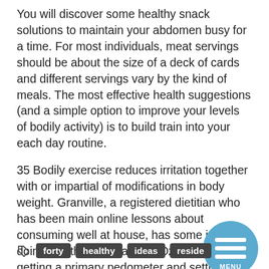You will discover some healthy snack solutions to maintain your abdomen busy for a time. For most individuals, meat servings should be about the size of a deck of cards and different servings vary by the kind of meals. The most effective health suggestions (and a simple option to improve your levels of bodily activity) is to build train into your each day routine.
35 Bodily exercise reduces irritation together with or impartial of modifications in body weight. Granville, a registered dietitian who has been main online lessons about consuming well at house, has some ideas for doing just that. Instead, Dr. Oz suggests getting a primary pedometer and setting a objective of 10,000 steps per day (that's about five miles) to remain slim and healthy.
[Figure (other): Blue circular menu button with three horizontal white lines and the text MENU below them]
forty
healthy
ideas
reside